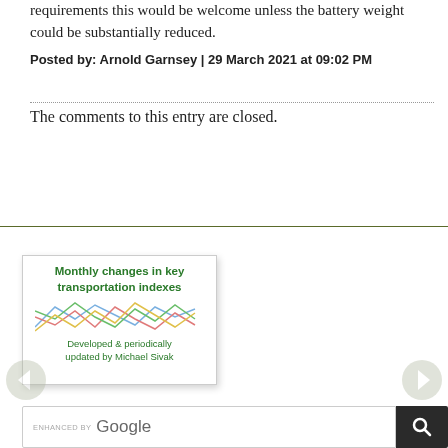requirements this would be welcome unless the battery weight could be substantially reduced.
Posted by: Arnold Garnsey | 29 March 2021 at 09:02 PM
The comments to this entry are closed.
[Figure (illustration): Thumbnail image with text 'Monthly changes in key transportation indexes - Developed & periodically updated by Michael Sivak' with colorful line chart graphic behind the text.]
[Figure (screenshot): Google search bar with magnifying glass icon, labeled ENHANCED BY Google]
[Figure (illustration): Left navigation arrow icon (circle with left-pointing arrow), greyed out]
[Figure (illustration): Right navigation arrow icon (circle with right-pointing arrow), greyed out]